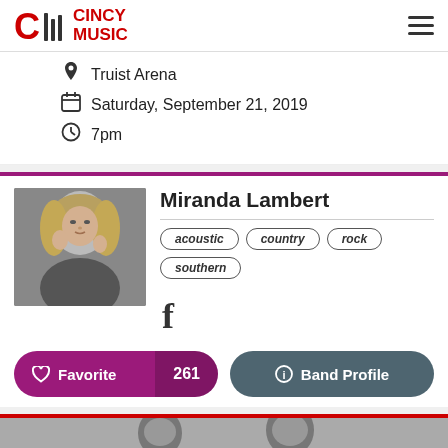CINCY MUSIC
Truist Arena
Saturday, September 21, 2019
7pm
Miranda Lambert
acoustic
country
rock
southern
[Figure (illustration): Facebook icon]
Favorite 261
Band Profile
[Figure (photo): Miranda Lambert headshot photo - blonde woman posing with hands near face, black and white]
[Figure (photo): Partial photo of another artist at bottom, black and white]